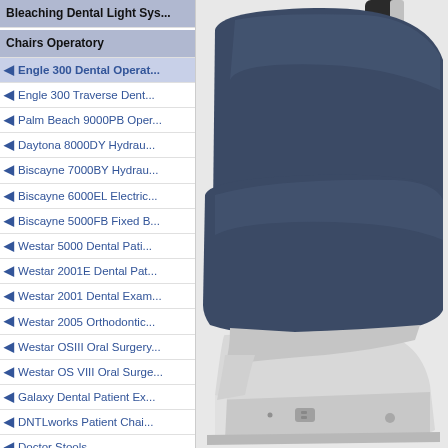Bleaching Dental Light Sys...
Chairs Operatory
Engle 300 Dental Operat...
Engle 300 Traverse Dent...
Palm Beach 9000PB Oper...
Daytona 8000DY Hydrau...
Biscayne 7000BY Hydrau...
Biscayne 6000EL Electric...
Biscayne 5000FB Fixed B...
Westar 5000 Dental Pati...
Westar 2001E Dental Pat...
Westar 2001 Dental Exam...
Westar 2005 Orthodontic...
Westar OSIII Oral Surgery...
Westar OS VIII Oral Surge...
Galaxy Dental Patient Ex...
DNTLworks Patient Chai...
Doctor Stools
Assistant Stools
X-Ray Chairs
Reception Chairs
[Figure (photo): Dental operatory chair with dark navy blue upholstery and white/grey base with armrest, shown from an angle]